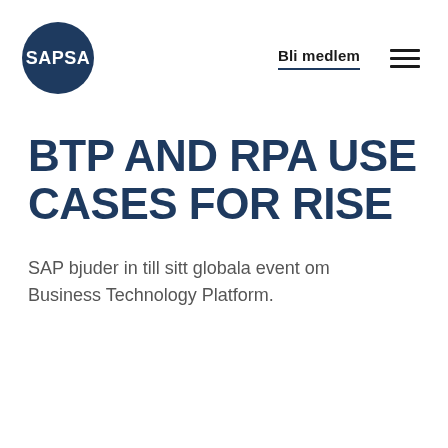[Figure (logo): SAPSA logo — white text on dark navy blue circle]
Bli medlem
BTP AND RPA USE CASES FOR RISE
SAP bjuder in till sitt globala event om Business Technology Platform.